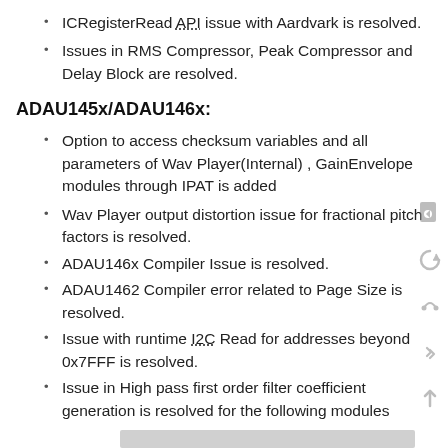ICRegisterRead API issue with Aardvark is resolved.
Issues in RMS Compressor, Peak Compressor and Delay Block are resolved.
ADAU145x/ADAU146x:
Option to access checksum variables and all parameters of Wav Player(Internal) , GainEnvelope modules through IPAT is added
Wav Player output distortion issue for fractional pitch factors is resolved.
ADAU146x Compiler Issue is resolved.
ADAU1462 Compiler error related to Page Size is resolved.
Issue with runtime I2C Read for addresses beyond 0x7FFF is resolved.
Issue in High pass first order filter coefficient generation is resolved for the following modules